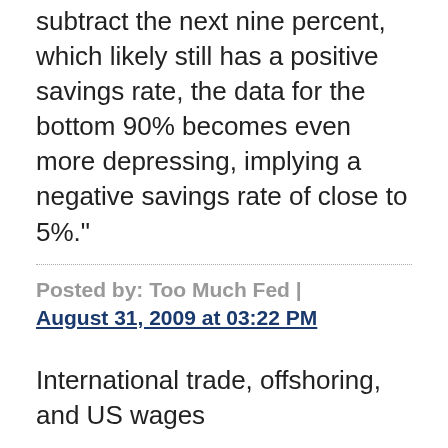subtract the next nine percent, which likely still has a positive savings rate, the data for the bottom 90% becomes even more depressing, implying a negative savings rate of close to 5%."
Posted by: Too Much Fed | August 31, 2009 at 03:22 PM
International trade, offshoring, and US wages
http://www.voxeu.org/index.php?q=node/3920
Begins with:
"This column revisits the